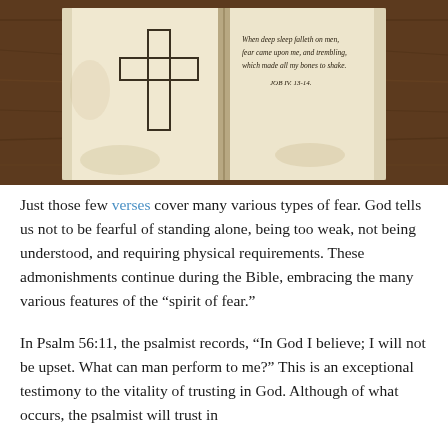[Figure (photo): An open old book with yellowed pages on a wooden surface. The left page has a hand-drawn cross outline. The right page has text reading: 'When deep sleep falleth on men, fear came upon me, and trembling, which made all my bones to shake. JOB IV. 13-14.']
Just those few verses cover many various types of fear. God tells us not to be fearful of standing alone, being too weak, not being understood, and requiring physical requirements. These admonishments continue during the Bible, embracing the many various features of the “spirit of fear.”
In Psalm 56:11, the psalmist records, “In God I believe; I will not be upset. What can man perform to me?” This is an exceptional testimony to the vitality of trusting in God. Although of what occurs, the psalmist will trust in